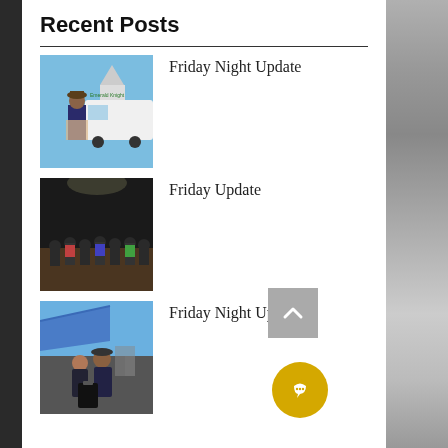Recent Posts
Friday Night Update
Friday Update
Friday Night Update